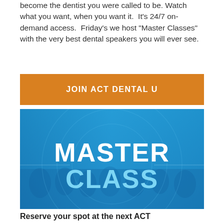become the dentist you were called to be. Watch what you want, when you want it. It's 24/7 on-demand access. Friday's we host "Master Classes" with the very best dental speakers you will ever see.
JOIN ACT DENTAL U
[Figure (illustration): Blue banner image with bold white text reading MASTER CLASS on a gradient blue background with subtle circular design elements and blurred audience silhouettes]
Reserve your spot at the next ACT